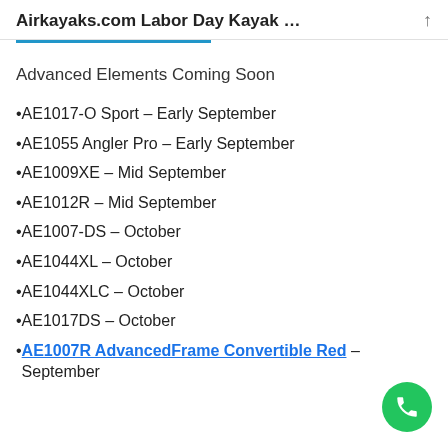Airkayaks.com Labor Day Kayak …
Advanced Elements Coming Soon
AE1017-O Sport – Early September
AE1055 Angler Pro – Early September
AE1009XE – Mid September
AE1012R – Mid September
AE1007-DS – October
AE1044XL – October
AE1044XLC – October
AE1017DS – October
AE1007R AdvancedFrame Convertible Red – September